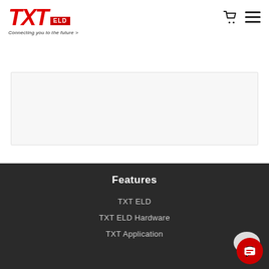[Figure (logo): TXT ELD logo with tagline 'Connecting you to the future >']
[Figure (screenshot): Navigation icons: shopping cart and hamburger menu]
[Figure (screenshot): Light gray content box area]
Features
TXT ELD
TXT ELD Hardware
TXT Application
[Figure (illustration): Red circular chat/support button with speech bubble icon]